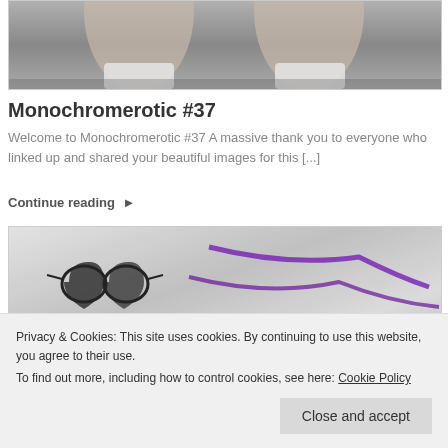[Figure (photo): Partial view of legs/knees from above, cropped blog post thumbnail image in grayscale/muted tones]
Monochromerotic #37
Welcome to Monochromerotic #37 A massive thank you to everyone who linked up and shared your beautiful images for this [...]
Continue reading ▸
[Figure (photo): Black and white image showing lingerie/accessories with heart-shaped sunglasses and purple straps]
Privacy & Cookies: This site uses cookies. By continuing to use this website, you agree to their use.
To find out more, including how to control cookies, see here: Cookie Policy
Close and accept